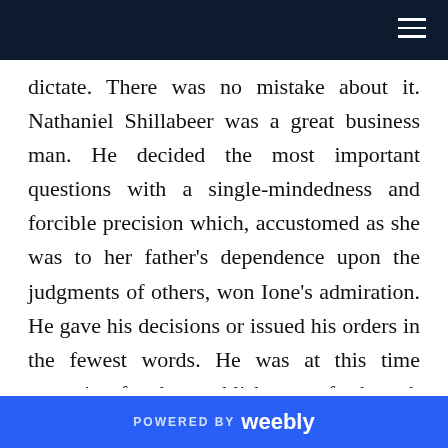dictate. There was no mistake about it. Nathaniel Shillabeer was a great business man. He decided the most important questions with a single-mindedness and forcible precision which, accustomed as she was to her father's dependence upon the judgments of others, won Ione's admiration. He gave his decisions or issued his orders in the fewest words. He was at this time arranging for the establishment of a branch of his World's Wisdom Emporium in the City of New York, and many of the dictated letters had reference to that project. But he carried his grasp of affairs easily over the sea, and dictated as rapidly and confidentially concerning, involved questions of site and title on
POWERED BY weebly